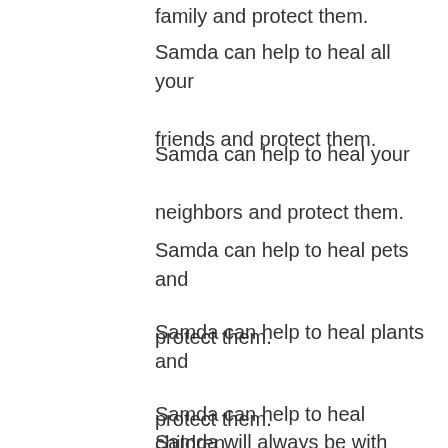family and protect them.
Samda can help to heal all your friends and protect them.
Samda can help to heal your neighbors and protect them.
Samda can help to heal pets and protect them.
Samda can help to heal plants and protect them.
Samda can help to heal children
Samda will always be with you
24/7